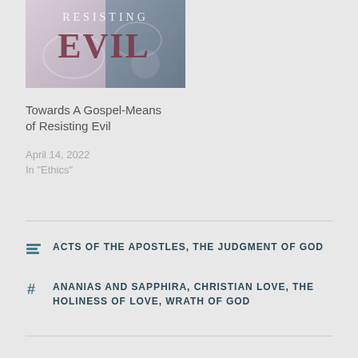[Figure (illustration): Book cover for 'Resisting Evil' showing title text over a misty grey and purple background with decorative swirls]
Towards A Gospel-Means of Resisting Evil
April 14, 2022
In "Ethics"
ACTS OF THE APOSTLES, THE JUDGMENT OF GOD
ANANIAS AND SAPPHIRA, CHRISTIAN LOVE, THE HOLINESS OF LOVE, WRATH OF GOD